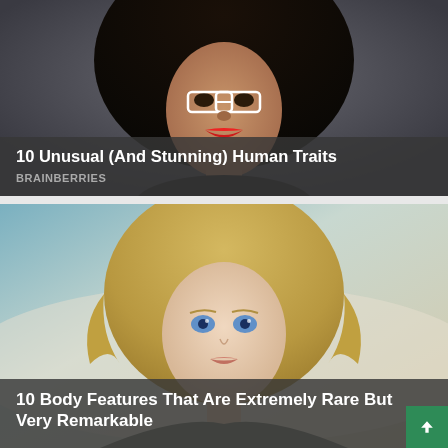[Figure (photo): Close-up portrait of a young woman with voluminous curly dark hair, wearing white-framed oversized glasses and bright red lipstick, against a grey background.]
10 Unusual (And Stunning) Human Traits
BRAINBERRIES
[Figure (photo): Portrait of a young blonde woman with wavy curly hair and blue eyes, looking directly at camera with a soft outdoor background.]
10 Body Features That Are Extremely Rare But Very Remarkable